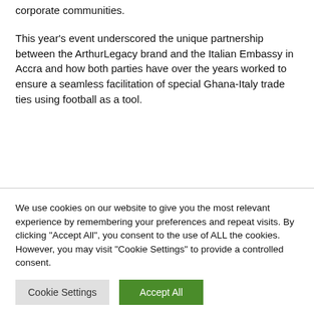corporate communities.
This year's event underscored the unique partnership between the ArthurLegacy brand and the Italian Embassy in Accra and how both parties have over the years worked to ensure a seamless facilitation of special Ghana-Italy trade ties using football as a tool.
We use cookies on our website to give you the most relevant experience by remembering your preferences and repeat visits. By clicking "Accept All", you consent to the use of ALL the cookies. However, you may visit "Cookie Settings" to provide a controlled consent.